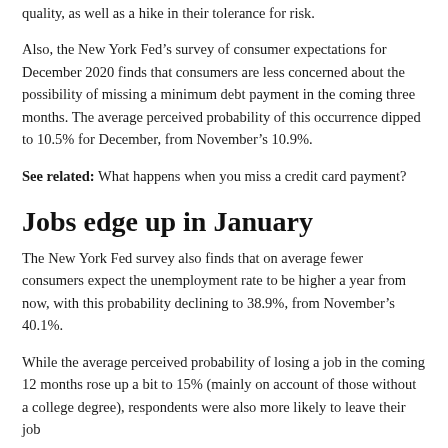quality, as well as a hike in their tolerance for risk.
Also, the New York Fed’s survey of consumer expectations for December 2020 finds that consumers are less concerned about the possibility of missing a minimum debt payment in the coming three months. The average perceived probability of this occurrence dipped to 10.5% for December, from November’s 10.9%.
See related: What happens when you miss a credit card payment?
Jobs edge up in January
The New York Fed survey also finds that on average fewer consumers expect the unemployment rate to be higher a year from now, with this probability declining to 38.9%, from November’s 40.1%.
While the average perceived probability of losing a job in the coming 12 months rose up a bit to 15% (mainly on account of those without a college degree), respondents were also more likely to leave their job